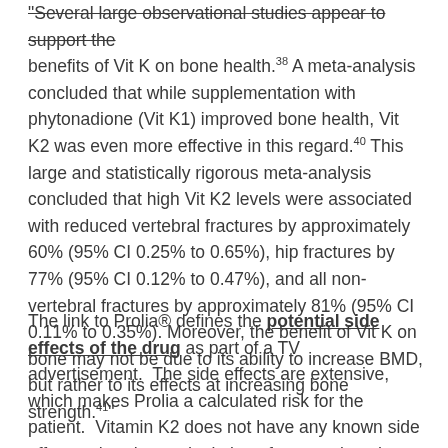"Several large observational studies appear to support the benefits of Vit K on bone health.[38] A meta-analysis concluded that while supplementation with phytonadione (Vit K1) improved bone health, Vit K2 was even more effective in this regard.[40] This large and statistically rigorous meta-analysis concluded that high Vit K2 levels were associated with reduced vertebral fractures by approximately 60% (95% CI 0.25% to 0.65%), hip fractures by 77% (95% CI 0.12% to 0.47%), and all non-vertebral fractures by approximately 81% (95% CI 0.11% to 0.35%). Moreover, the benefit of Vit K on bone may not be due to its ability to increase BMD, but rather to its effects at increasing bone strength.[41]"
The link to Prolia® defines the potential side effects of the drug as part of a TV advertisement. The side effects are extensive, which makes Prolia a calculated risk for the patient. Vitamin K2 does not have any known side effects other than a depletion of magnesium that can cause leg